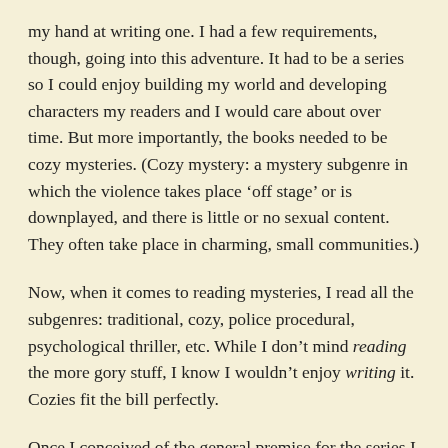my hand at writing one. I had a few requirements, though, going into this adventure. It had to be a series so I could enjoy building my world and developing characters my readers and I would care about over time. But more importantly, the books needed to be cozy mysteries. (Cozy mystery: a mystery subgenre in which the violence takes place ‘off stage’ or is downplayed, and there is little or no sexual content. They often take place in charming, small communities.)
Now, when it comes to reading mysteries, I read all the subgenres: traditional, cozy, police procedural, psychological thriller, etc. While I don’t mind reading the more gory stuff, I know I wouldn’t enjoy writing it. Cozies fit the bill perfectly.
Once I conceived of the general premise for the series I spent a delightful afternoon building my world. If I was going to be spending a lot of time there it had to be a place I’d enjoy. As an Anglophile, the setting of my series is as English as it can be without actually being set in England. STRATFORD UPON